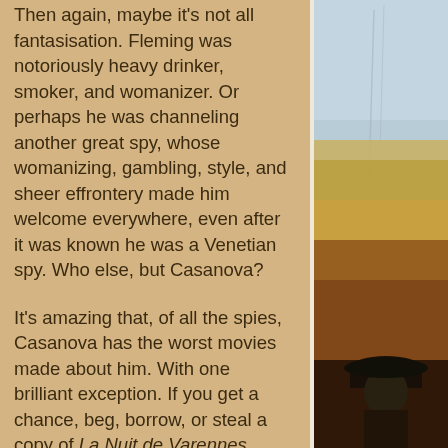Then again, maybe it's not all fantasisation. Fleming was notoriously heavy drinker, smoker, and womanizer. Or perhaps he was channeling another great spy, whose womanizing, gambling, style, and sheer effrontery made him welcome everywhere, even after it was known he was a Venetian spy. Who else, but Casanova?
It's amazing that, of all the spies, Casanova has the worst movies made about him. With one brilliant exception. If you get a chance, beg, borrow, or steal a copy of La Nuit de Varennes, where Thomas Paine, Restif de la Bretonne (pornographer, journalist, and philosopher, often called "the Voltaire of the chambermaids"), and Casanova and others all chase down Louis XVI and Marie Antoinette as they desperately try to
[Figure (photo): Right side of page: top portion shows a light blue-grey sky with some lines/markings. Bottom portion shows what appears to be a golden/brown textured background with a figure wearing a black hat, visible from shoulders up.]